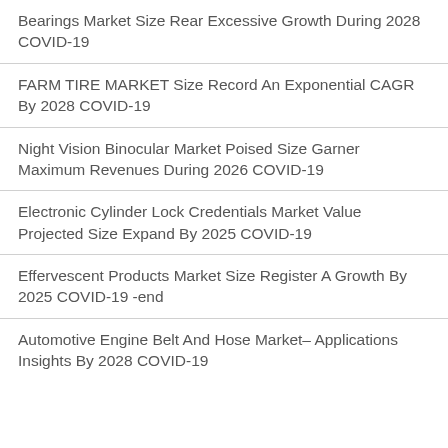Bearings Market Size Rear Excessive Growth During 2028 COVID-19
FARM TIRE MARKET Size Record An Exponential CAGR By 2028 COVID-19
Night Vision Binocular Market Poised Size Garner Maximum Revenues During 2026 COVID-19
Electronic Cylinder Lock Credentials Market Value Projected Size Expand By 2025 COVID-19
Effervescent Products Market Size Register A Growth By 2025 COVID-19 -end
Automotive Engine Belt And Hose Market– Applications Insights By 2028 COVID-19